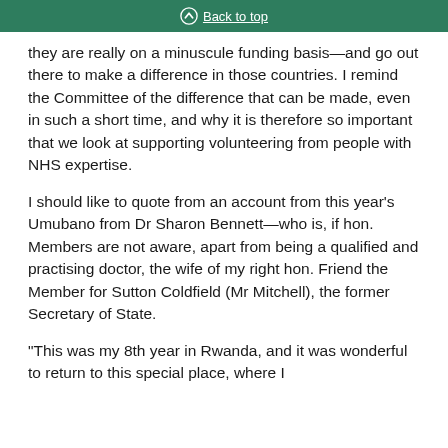Back to top
they are really on a minuscule funding basis—and go out there to make a difference in those countries. I remind the Committee of the difference that can be made, even in such a short time, and why it is therefore so important that we look at supporting volunteering from people with NHS expertise.
I should like to quote from an account from this year's Umubano from Dr Sharon Bennett—who is, if hon. Members are not aware, apart from being a qualified and practising doctor, the wife of my right hon. Friend the Member for Sutton Coldfield (Mr Mitchell), the former Secretary of State.
“This was my 8th year in Rwanda, and it was wonderful to return to this special place, where I